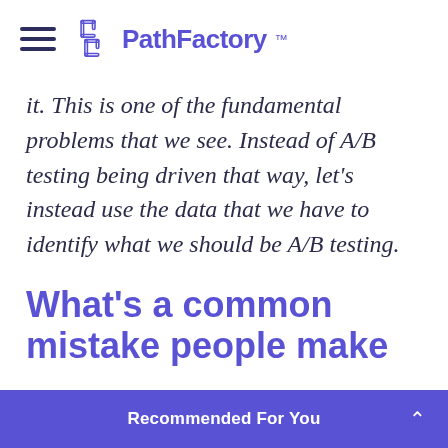PathFactory
it. This is one of the fundamental problems that we see. Instead of A/B testing being driven that way, let's instead use the data that we have to identify what we should be A/B testing.
What's a common mistake people make
Recommended For You